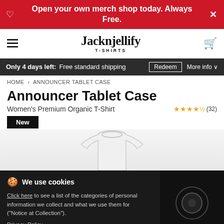Open your own merch shop today. Always Free.
[Figure (screenshot): Jacknjellify T-SHIRTS logo with hamburger menu and cart icon navigation bar]
Only 4 days left: Free standard shipping  Redeem  More info
HOME > ANNOUNCER TABLET CASE
Announcer Tablet Case
Women's Premium Organic T-Shirt  ★★★★½ (32)
New
[Figure (photo): White t-shirt product mockup on white background]
We use cookies
Click here to see a list of the categories of personal information we collect and what we use them for ("Notice at Collection").
Privacy Policy
Do Not Sell My Personal Information
By using this website, I agree to the Terms and Conditions